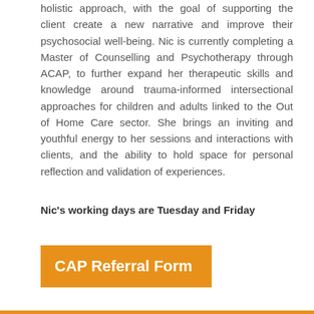holistic approach, with the goal of supporting the client create a new narrative and improve their psychosocial well-being. Nic is currently completing a Master of Counselling and Psychotherapy through ACAP, to further expand her therapeutic skills and knowledge around trauma-informed intersectional approaches for children and adults linked to the Out of Home Care sector. She brings an inviting and youthful energy to her sessions and interactions with clients, and the ability to hold space for personal reflection and validation of experiences.
Nic's working days are Tuesday and Friday
[Figure (other): Orange button/banner with white bold text reading 'CAP Referral Form']